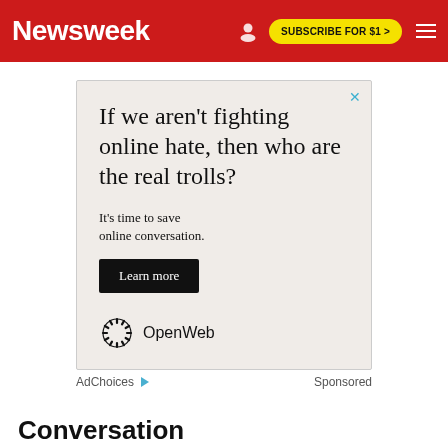Newsweek — SUBSCRIBE FOR $1 >
[Figure (infographic): Advertisement banner with text: 'If we aren't fighting online hate, then who are the real trolls?' and subtext 'It's time to save online conversation.' with a 'Learn more' button and OpenWeb branding logo.]
AdChoices ▷  Sponsored
Conversation